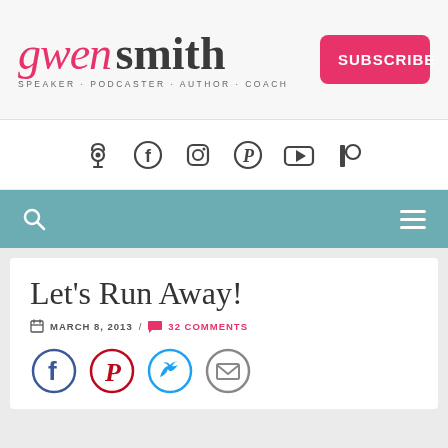[Figure (logo): Gwen Smith logo with script and bold text. Tagline: SPEAKER · PODCASTER · AUTHOR · COACH]
[Figure (other): SUBSCRIBE button in pink/red]
[Figure (other): Social media icons row: Podcast, Facebook, Instagram, Pinterest, YouTube, Patreon]
[Figure (other): Teal navigation bar with search icon and hamburger menu]
Let's Run Away!
MARCH 8, 2013 / 32 COMMENTS
[Figure (other): Share icons row: Facebook, Pinterest, Twitter, Email]